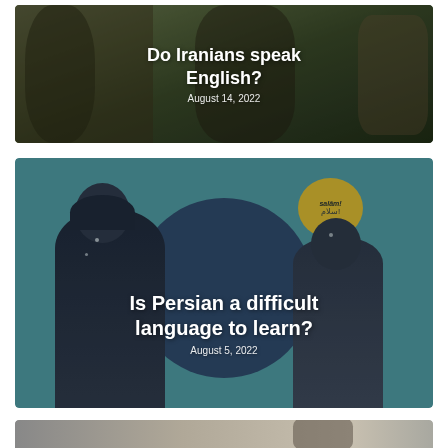[Figure (photo): Card with outdoor street photo background showing a woman wearing sunglasses and headscarf. White bold text overlay reads 'Do Iranians speak English?' with date 'August 14, 2022'.]
[Figure (illustration): Card with teal background showing illustrated people speaking, a yellow speech bubble with 'salām! سلام!' text. Bold white text overlay reads 'Is Persian a difficult language to learn?' with date 'August 5, 2022'.]
[Figure (photo): Partial card at bottom of page, appears to be a photo with grey/indoor tones, partially visible.]